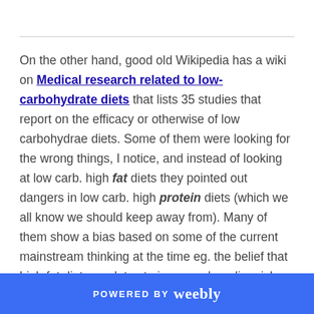On the other hand, good old Wikipedia has a wiki on Medical research related to low-carbohydrate diets that lists 35 studies that report on the efficacy or otherwise of low carbohydrae diets. Some of them were looking for the wrong things, I notice, and instead of looking at low carb. high fat diets they pointed out dangers in low carb. high protein diets (which we all know we should keep away from). Many of them show a bias based on some of the current mainstream thinking at the time eg. the belief that high fat diet correlates to increased cardiac risk (which we now all know is incorrect).
POWERED BY weebly